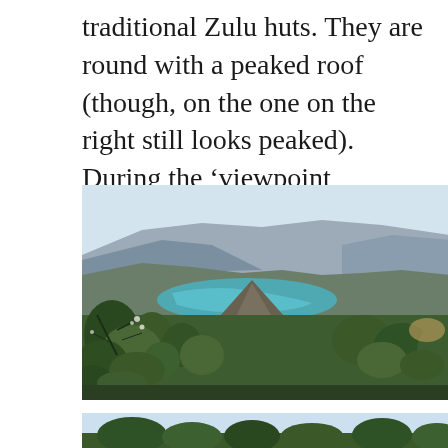traditional Zulu huts. They are round with a peaked roof (though, on the one on the right still looks peaked). During the ‘viewpoint
[Figure (photo): Aerial landscape photograph showing a sweeping mountain canyon with a winding turquoise river or reservoir visible in the middle distance. Forested green slopes in the foreground with trees, rocky cliffs and multiple mountain ridges extending to a hazy horizon under a pale blue sky.]
[Figure (photo): Partial view of another landscape photograph showing pale blue sky and tree tops at the bottom edge, cropped at the page boundary.]